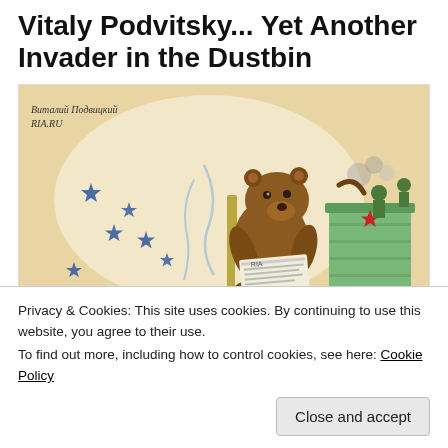Vitaly Podvitsky... Yet Another Invader in the Dustbin
[Figure (illustration): A political cartoon by Vitaly Podvitsky (RIA.RU) showing a large brown bear sitting in a chair reading a newspaper, with a map background showing NATO symbols (blue stars/compasses), and on the right a green dustbin/container with small figures inside throwing things, with a red star visible.]
Privacy & Cookies: This site uses cookies. By continuing to use this website, you agree to their use.
To find out more, including how to control cookies, see here: Cookie Policy
Close and accept